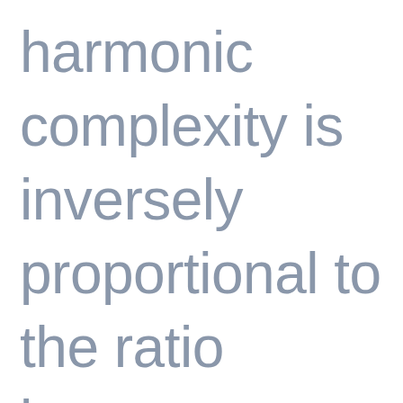harmonic complexity is inversely proportional to the ratio between chording and